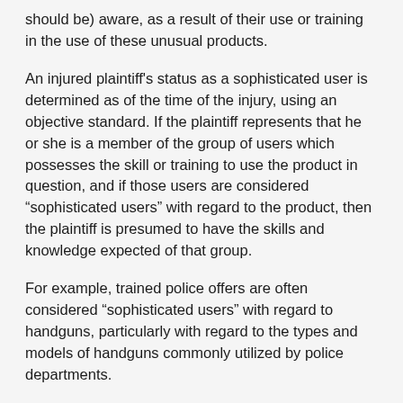should be) aware, as a result of their use or training in the use of these unusual products.
An injured plaintiff's status as a sophisticated user is determined as of the time of the injury, using an objective standard. If the plaintiff represents that he or she is a member of the group of users which possesses the skill or training to use the product in question, and if those users are considered “sophisticated users” with regard to the product, then the plaintiff is presumed to have the skills and knowledge expected of that group.
For example, trained police offers are often considered “sophisticated users” with regard to handguns, particularly with regard to the types and models of handguns commonly utilized by police departments.
It’s important to note, however, that the sophisticated user defense applies to warning defects – not design or manufacturing defects. Even sophisticated users are not